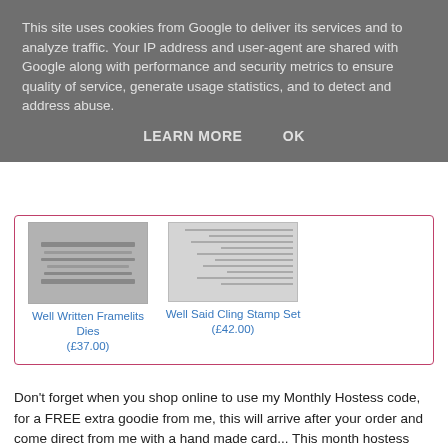This site uses cookies from Google to deliver its services and to analyze traffic. Your IP address and user-agent are shared with Google along with performance and security metrics to ensure quality of service, generate usage statistics, and to detect and address abuse.
LEARN MORE   OK
[Figure (other): Two product images in a pink-bordered box: left shows 'Well Written Framelits Dies (£37.00)', right shows 'Well Said Cling Stamp Set (£42.00)']
Don't forget when you shop online to use my Monthly Hostess code, for a FREE extra goodie from me, this will arrive after your order and come direct from me with a hand made card... This month hostess code is  HHCVRJ6U (for orders under £150)
FREE for April, - Ideas Group PDF Tutorial featuring 12 projects including 3d items and cards, emailed over when you place a £30 Stampin' Up! order.